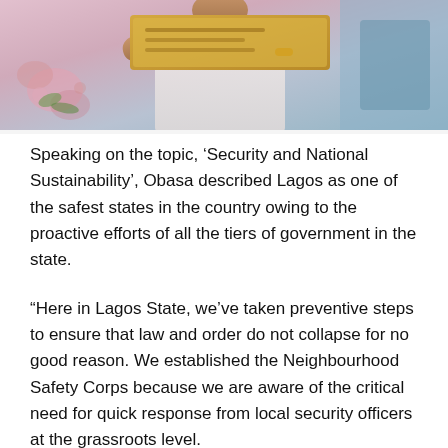[Figure (photo): Photograph of a person in light-colored clothing holding or presenting a wooden board/document, with floral decorations visible in the background.]
Speaking on the topic, 'Security and National Sustainability', Obasa described Lagos as one of the safest states in the country owing to the proactive efforts of all the tiers of government in the state.
“Here in Lagos State, we’ve taken preventive steps to ensure that law and order do not collapse for no good reason. We established the Neighbourhood Safety Corps because we are aware of the critical need for quick response from local security officers at the grassroots level.
“The state government’s efforts, led by the Neighbourhood Safety Corps and aided by the other security officers on the ground, have made Lagos a secure place to live for everyone.